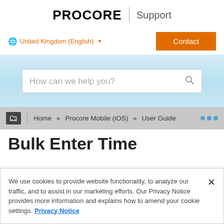[Figure (logo): Procore logo with 'PROCORE' text and a vertical divider followed by 'Support']
United Kingdom (English) ▼
Contact
[Figure (screenshot): Search bar with placeholder text 'How can we help you?' and a search icon, on a light blue gradient background]
Home » Procore Mobile (iOS) » User Guide
Bulk Enter Time
We use cookies to provide website functionality, to analyze our traffic, and to assist in our marketing efforts. Our Privacy Notice provides more information and explains how to amend your cookie settings. Privacy Notice